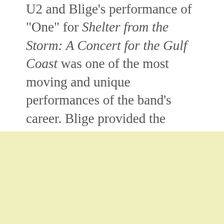U2 and Blige's performance of "One" for Shelter from the Storm: A Concert for the Gulf Coast was one of the most moving and unique performances of the band's career. Blige provided the perfect accompaniment with her soulful vocal interpretation of the heartfelt lyrics.
U2exit.com, thegoalissoul.cjb.net, and Zootopia.de are hosting video of the performance. Be sure you watch it and donate to the Red Cross hurricane relief fund if you can. (AP photo)